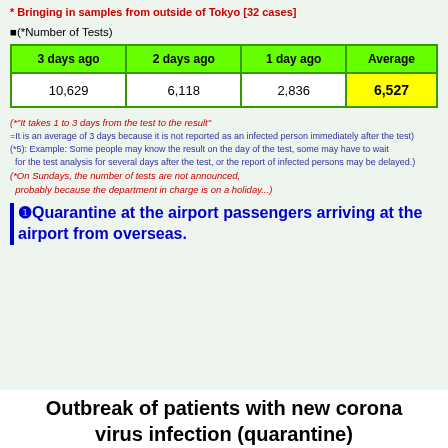* Bringing in samples from outside of Tokyo [32 cases]
■(*Number of Tests)
| 3 days ago | 2 days ago | 1 day ago | Average |
| --- | --- | --- | --- |
| 10,629 | 6,118 | 2,836 | 6,527 |
(*"It takes 1 to 3 days from the test to the result"
=It is an average of 3 days because it is not reported as an infected person immediately after the test)
(*5): Example: Some people may know the result on the day of the test, some may have to wait for the test analysis for several days after the test, or the report of infected persons may be delayed.)
(*On Sundays, the number of tests are not announced, probably because the department in charge is on a holiday...)
❶Quarantine at the airport passengers arriving at the airport from overseas.
Outbreak of patients with new corona virus infection (quarantine)